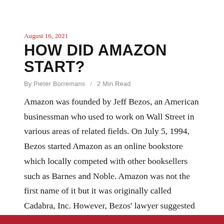August 16, 2021
HOW DID AMAZON START?
By Pieter Borremans  /  2 Min Read
Amazon was founded by Jeff Bezos, an American businessman who used to work on Wall Street in various areas of related fields. On July 5, 1994, Bezos started Amazon as an online bookstore which locally competed with other booksellers such as Barnes and Noble. Amazon was not the first name of it but it was originally called Cadabra, Inc. However, Bezos' lawyer suggested that the name should...